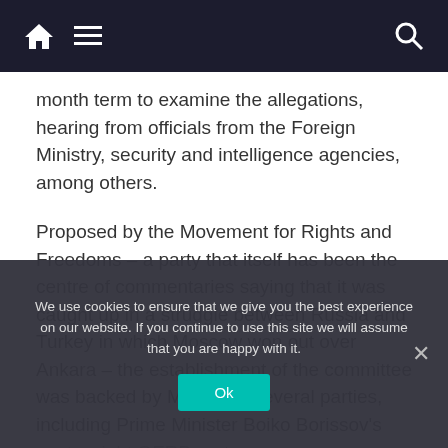Navigation bar with home, menu, and search icons
month term to examine the allegations, hearing from officials from the Foreign Ministry, security and intelligence agencies, among others.
Proposed by the Movement for Rights and Freedoms – a party that itself has been the centre of commentaries saying that it was caught up in a struggle between Russia and Turkey in which Moscow won out over Ankara – the establishment of the committee was backed by MPs from several parties, including Prime Minister Boiko Borissov's
centre-right GERB party
We use cookies to ensure that we give you the best experience on our website. If you continue to use this site we will assume that you are happy with it.